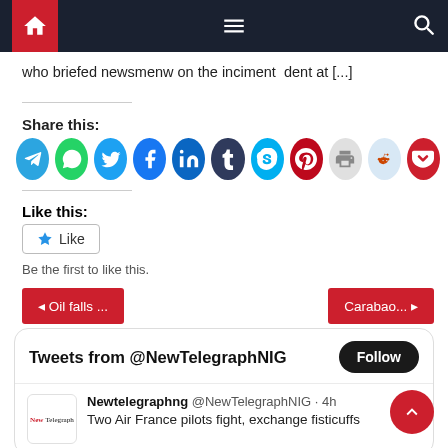Navigation bar with home, menu, and search icons
who briefed newsmenw on the inciment  dent at [...]
Share this:
[Figure (other): Row of social sharing icons: Telegram, WhatsApp, Twitter, Facebook, LinkedIn, Tumblr, Skype, Pinterest, Print, Reddit, Pocket]
Like this:
Like
Be the first to like this.
◄ Oil falls ...
Carabao... ►
Tweets from @NewTelegraphNIG
Follow
Newtelegraphng @NewTelegraphNIG · 4h
Two Air France pilots fight, exchange fisticuffs